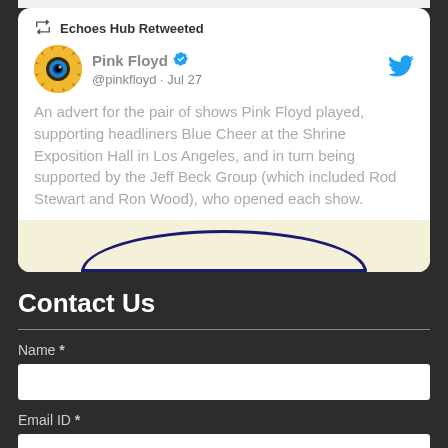[Figure (screenshot): Embedded tweet card showing 'Echoes Hub Retweeted' a Pink Floyd verified tweet from @pinkfloyd dated Jul 27. Tweet text: 'An advert for the pair of shows Pink Floyd played, supporting headliners Blue Cheer at the Shrine Exposition Hall in Los Angeles, and in turn being supported by the Jeff Beck Group (which included Rod Stewart and Ron Wood), who opened each show.' Card includes Pink Floyd sunflower eye avatar and Twitter bird icon. Bottom of card shows a partial vintage poster image.]
Contact Us
Name *
Email ID *